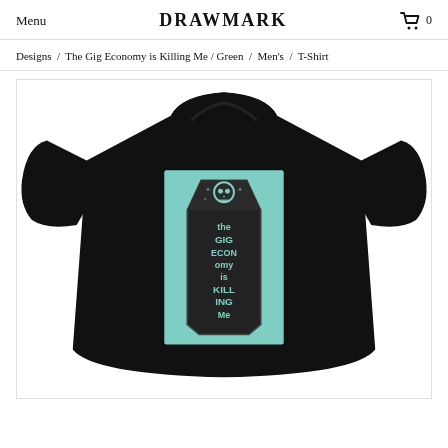Menu   DRAWMARK   0
Designs / The Gig Economy is Killing Me / Green / Men's / T-Shirt
[Figure (photo): Black t-shirt with a design showing a coffin on a teal/mint green background. The coffin has a skull at the top and text reading 'the GIG ECONOMY is KILLING Me' written in a hand-drawn style.]